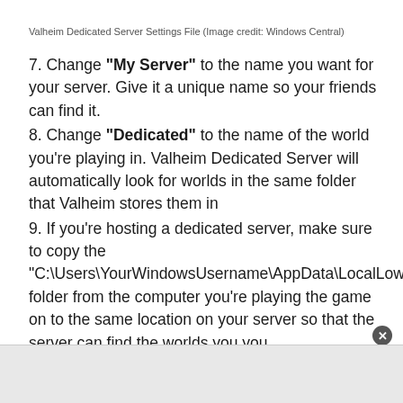Valheim Dedicated Server Settings File (Image credit: Windows Central)
7. Change "My Server" to the name you want for your server. Give it a unique name so your friends can find it.
8. Change "Dedicated" to the name of the world you're playing in. Valheim Dedicated Server will automatically look for worlds in the same folder that Valheim stores them in
9. If you're hosting a dedicated server, make sure to copy the "C:\Users\YourWindowsUsername\AppData\LocalLow\IronGate\Valheim\" folder from the computer you're playing the game on to the same location on your server so that the server can find the worlds you've...